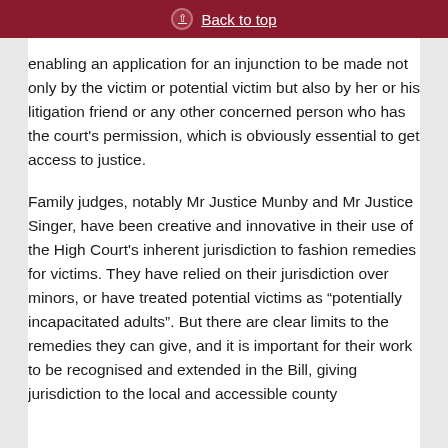Back to top
enabling an application for an injunction to be made not only by the victim or potential victim but also by her or his litigation friend or any other concerned person who has the court's permission, which is obviously essential to get access to justice.
Family judges, notably Mr Justice Munby and Mr Justice Singer, have been creative and innovative in their use of the High Court's inherent jurisdiction to fashion remedies for victims. They have relied on their jurisdiction over minors, or have treated potential victims as “potentially incapacitated adults”. But there are clear limits to the remedies they can give, and it is important for their work to be recognised and extended in the Bill, giving jurisdiction to the local and accessible county